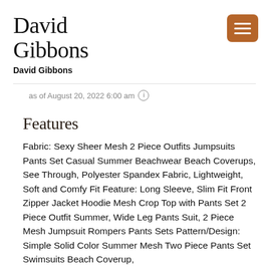David Gibbons
David Gibbons
as of August 20, 2022 6:00 am ℹ
Features
Fabric: Sexy Sheer Mesh 2 Piece Outfits Jumpsuits Pants Set Casual Summer Beachwear Beach Coverups, See Through, Polyester Spandex Fabric, Lightweight, Soft and Comfy Fit Feature: Long Sleeve, Slim Fit Front Zipper Jacket Hoodie Mesh Crop Top with Pants Set 2 Piece Outfit Summer, Wide Leg Pants Suit, 2 Piece Mesh Jumpsuit Rompers Pants Sets Pattern/Design: Simple Solid Color Summer Mesh Two Piece Pants Set Swimsuits Beach Coverup,